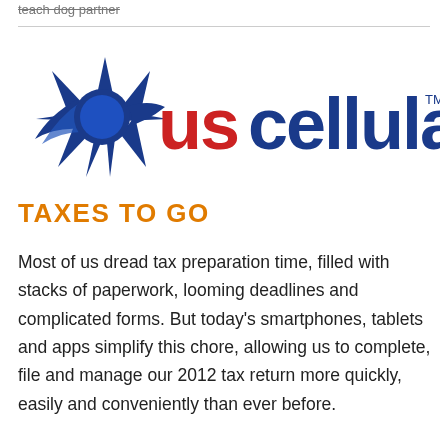teach dog partner
[Figure (logo): US Cellular logo with blue star/swoosh icon on the left, red 'us' text and blue 'cellular' text, with TM mark]
TAXES TO GO
Most of us dread tax preparation time, filled with stacks of paperwork, looming deadlines and complicated forms. But today's smartphones, tablets and apps simplify this chore, allowing us to complete, file and manage our 2012 tax return more quickly, easily and conveniently than ever before.